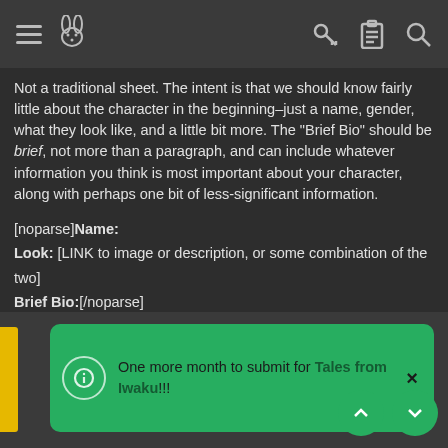Navigation bar with hamburger menu, rabbit icon, key icon, clipboard icon, search icon
Not a traditional sheet. The intent is that we should know fairly little about the character in the beginning–just a name, gender, what they look like, and a little bit more. The "Brief Bio" should be brief, not more than a paragraph, and can include whatever information you think is most important about your character, along with perhaps one bit of less-significant information.
[noparse]Name:
Look: [LINK to image or description, or some combination of the two]
Brief Bio:[/noparse]
Character Listing:
NONE
One more month to submit for Tales from Iwaku!!!